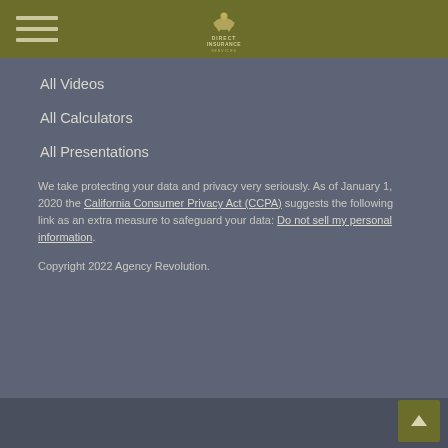Direct Insurance Services
All Videos
All Calculators
All Presentations
We take protecting your data and privacy very seriously. As of January 1, 2020 the California Consumer Privacy Act (CCPA) suggests the following link as an extra measure to safeguard your data: Do not sell my personal information.
Copyright 2022 Agency Revolution.